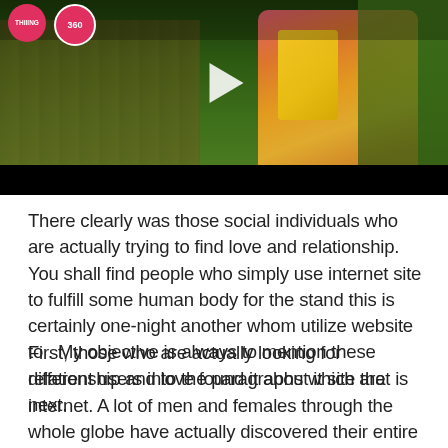[Figure (photo): A photo/video thumbnail showing a woman in a pink crop top and pink shorts with a yellow bag, against a green outdoor background. Overlay icons include a pink circular badge with text and a '360' badge on the top left, and a play button in the center. A black bar appears at the bottom of the image.]
There clearly was those social individuals who are actually trying to find love and relationship. You shall find people who simply use internet site to fulfill some human body for the stand this is certainly one-night another whom utilize website to . My objective is always to mention these different users into the paragraphs which are next.
First, those who are actually looking for relationship and love found it about it site that is internet. A lot of men and females through the whole globe have actually discovered their entire life fans through Filipino Cupid. Each is actually thankful for your website for them to meeting their mate